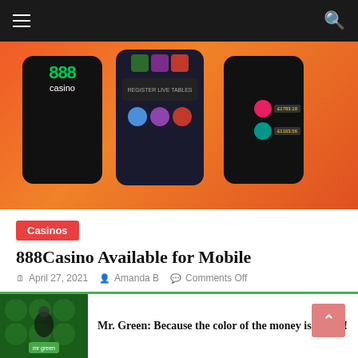Navigation bar with hamburger menu and search icon
[Figure (screenshot): 888 Casino mobile app screenshots on smartphones with orange gradient background]
Casinos
888Casino Available for Mobile
April 27, 2021  Amanda B  Comments Off
888 brand has been around for nearly 20 years. It has established itself as a prominent provider of a variety
Play now
Mr. Green: Because the color of the money is Green!